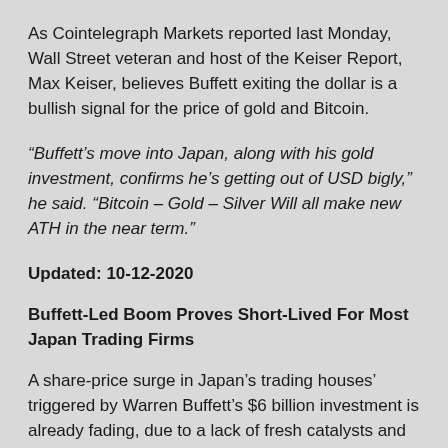As Cointelegraph Markets reported last Monday, Wall Street veteran and host of the Keiser Report, Max Keiser, believes Buffett exiting the dollar is a bullish signal for the price of gold and Bitcoin.
“Buffett’s move into Japan, along with his gold investment, confirms he’s getting out of USD bigly,” he said. “Bitcoin – Gold – Silver Will all make new ATH in the near term.”
Updated: 10-12-2020
Buffett-Led Boom Proves Short-Lived For Most Japan Trading Firms
A share-price surge in Japan’s trading houses’ triggered by Warren Buffett’s $6 billion investment is already fading, due to a lack of fresh catalysts and a downturn in commodity markets.